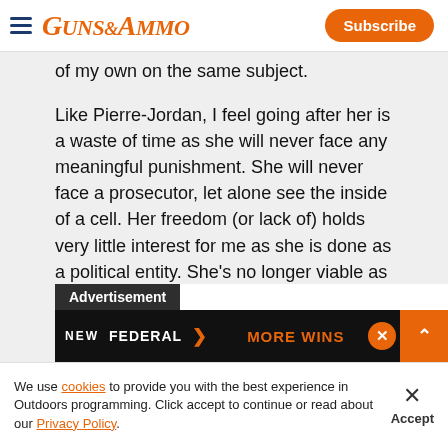GUNS&AMMO | Subscribe
of my own on the same subject.

Like Pierre-Jordan, I feel going after her is a waste of time as she will never face any meaningful punishment. She will never face a prosecutor, let alone see the inside of a cell. Her freedom (or lack of) holds very little interest for me as she is done as a political entity. She's no longer viable as a ca...
[Figure (screenshot): Advertisement banner: NEW FEDERAL with arrow logo, MORE WINS text on dark background]
We use cookies to provide you with the best experience in Outdoors programming. Click accept to continue or read about our Privacy Policy.